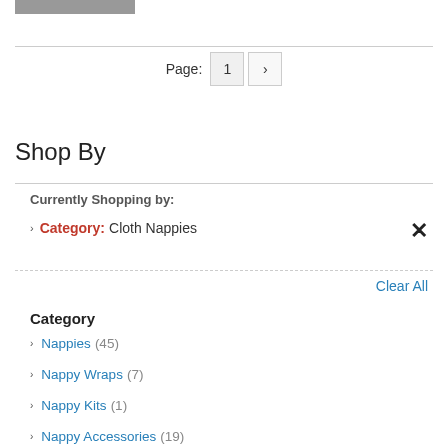[Figure (other): Gray rectangular image block at top left]
Page: 1 >
Shop By
Currently Shopping by:
Category: Cloth Nappies
Clear All
Category
Nappies (45)
Nappy Wraps (7)
Nappy Kits (1)
Nappy Accessories (19)